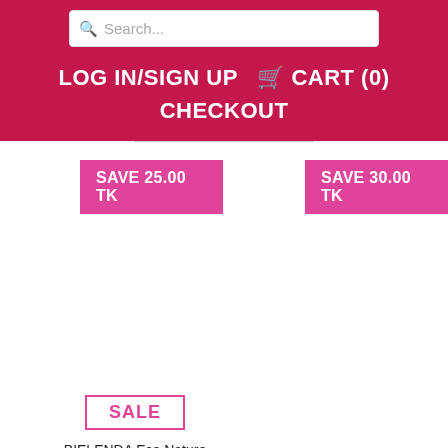Search... LOG IN/SIGN UP  CART (0) CHECKOUT
SAVE 25.00 TK
SAVE 30.00 TK
SALE
BIELENDA Eco Nature Coconut Water + Green Tea + Lemongrass Detoxifying and Matting Face Mask
SALE
BIELENDA CRYSTAL GLOW ROSE QUARTZ